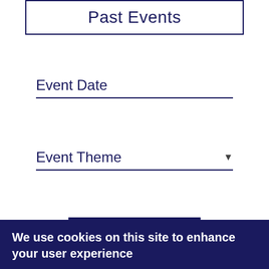Past Events
Event Date
Event Theme
Search
We use cookies on this site to enhance your user experience